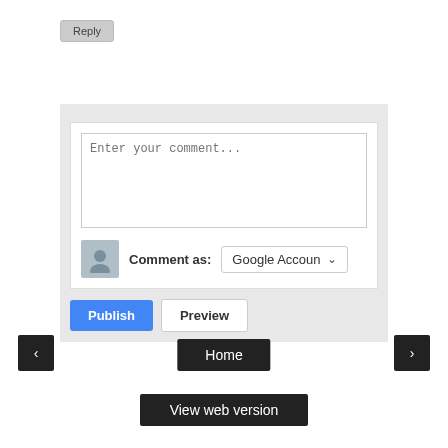Reply
[Figure (screenshot): Comment form with textarea 'Enter your comment...', avatar icon, 'Comment as: Google Accoun' dropdown, Publish and Preview buttons]
‹
Home
›
View web version